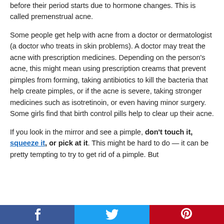before their period starts due to hormone changes. This is called premenstrual acne.
Some people get help with acne from a doctor or dermatologist (a doctor who treats in skin problems). A doctor may treat the acne with prescription medicines. Depending on the person's acne, this might mean using prescription creams that prevent pimples from forming, taking antibiotics to kill the bacteria that help create pimples, or if the acne is severe, taking stronger medicines such as isotretinoin, or even having minor surgery. Some girls find that birth control pills help to clear up their acne.
If you look in the mirror and see a pimple, don't touch it, squeeze it, or pick at it. This might be hard to do — it can be pretty tempting to try to get rid of a pimple. But
[Figure (other): Social sharing bar with Facebook, Twitter, and Pinterest buttons]